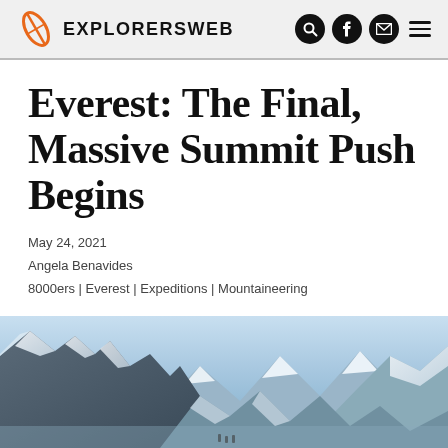EXPLORERSWEB
Everest: The Final, Massive Summit Push Begins
May 24, 2021
Angela Benavides
8000ers | Everest | Expeditions | Mountaineering
[Figure (photo): Snow-covered mountain ridge on Everest with blue sky and icy slopes, climbers visible in distance]